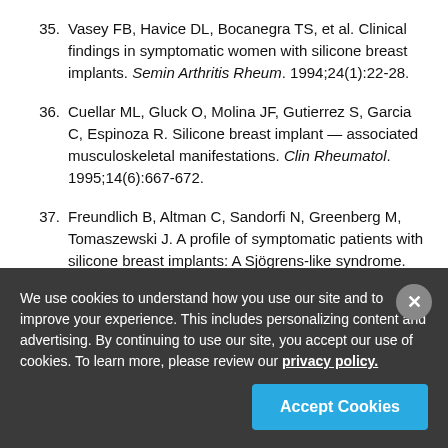35. Vasey FB, Havice DL, Bocanegra TS, et al. Clinical findings in symptomatic women with silicone breast implants. Semin Arthritis Rheum. 1994;24(1):22-28.
36. Cuellar ML, Gluck O, Molina JF, Gutierrez S, Garcia C, Espinoza R. Silicone breast implant — associated musculoskeletal manifestations. Clin Rheumatol. 1995;14(6):667-672.
37. Freundlich B, Altman C, Sandorfi N, Greenberg M, Tomaszewski J. A profile of symptomatic patients with silicone breast implants: A Sjögrens-like syndrome. Semin
We use cookies to understand how you use our site and to improve your experience. This includes personalizing content and advertising. By continuing to use our site, you accept our use of cookies. To learn more, please review our privacy policy.